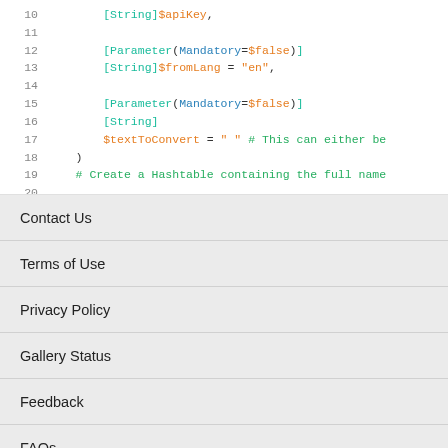[Figure (screenshot): Code snippet showing PowerShell parameter definitions with line numbers 10-20. Lines show [String]$apiKey, [Parameter(Mandatory=$false)] [String]$fromLang = "en", [Parameter(Mandatory=$false)] [String] $textToConvert = " " # This can either be, ) # Create a Hashtable containing the full name]
Contact Us
Terms of Use
Privacy Policy
Gallery Status
Feedback
FAQs
© 2022 Microsoft Corporation